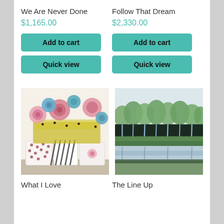We Are Never Done
$1,165.00
Add to cart
Quick view
Follow That Dream
$2,330.00
Add to cart
Quick view
[Figure (illustration): Colorful flower arrangement painting with blue, pink and rose flowers in patterned pots (polka dot, striped, floral) on a light background]
[Figure (illustration): Landscape painting showing a row of green trees reflected in water below, with dark trunks and a light sky, rendered in a flat graphic style]
What I Love
The Line Up